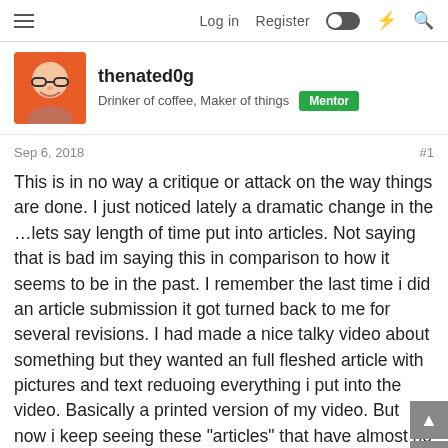Log in  Register
thenated0g
Drinker of coffee, Maker of things  Mentor
Sep 6, 2018   #1
This is in no way a critique or attack on the way things are done. I just noticed lately a dramatic change in the …lets say length of time put into articles. Not saying that is bad im saying this in comparison to how it seems to be in the past. I remember the last time i did an article submission it got turned back to me for several revisions. I had made a nice talky video about something but they wanted an full fleshed article with pictures and text reduoing everything i put into the video. Basically a printed version of my video. But now i keep seeing these "articles" that have almost no content at all.

Im not saying this is bad, its more a question as to what are